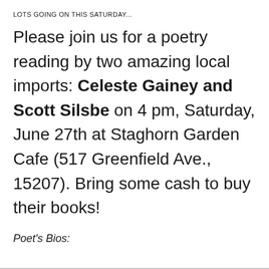LOTS GOING ON THIS SATURDAY...
Please join us for a poetry reading by two amazing local imports: Celeste Gainey and Scott Silsbe on 4 pm, Saturday, June 27th at Staghorn Garden Cafe (517 Greenfield Ave., 15207). Bring some cash to buy their books!
Poet's Bios: